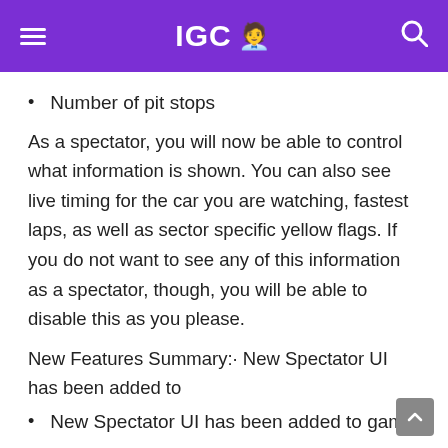IGC 🧑‍💼
Number of pit stops
As a spectator, you will now be able to control what information is shown. You can also see live timing for the car you are watching, fastest laps, as well as sector specific yellow flags. If you do not want to see any of this information as a spectator, though, you will be able to disable this as you please.
New Features Summary:· New Spectator UI has been added to
New Spectator UI has been added to game.
LAN Mode has been added to PlayStation4 and PC versions.
New Grid editor available in custom multiplayer